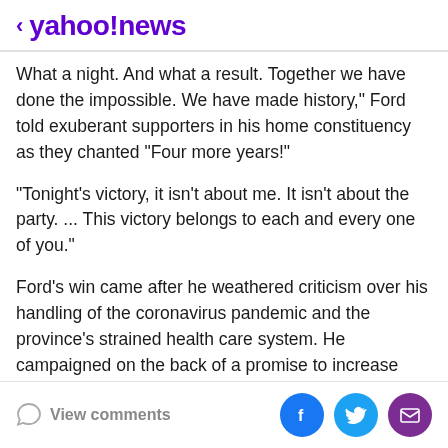< yahoo!news
What a night. And what a result. Together we have done the impossible. We have made history," Ford told exuberant supporters in his home constituency as they chanted "Four more years!"
"Tonight's victory, it isn't about me. It isn't about the party. ... This victory belongs to each and every one of you."
Ford's win came after he weathered criticism over his handling of the coronavirus pandemic and the province's strained health care system. He campaigned on the back of a promise to increase spending despite a massive existing debt load.
View comments